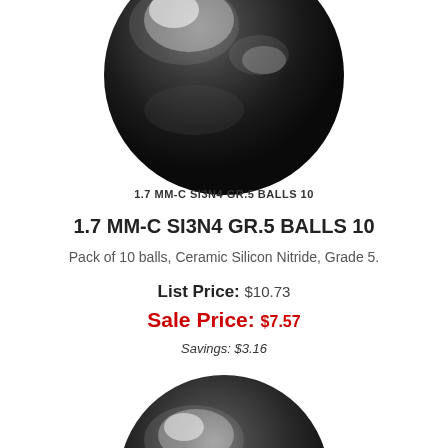[Figure (illustration): Large dark ceramic ball (silicon nitride) shown from above, glossy black with subtle reflections, top portion visible]
1.7 MM-C SI3N4 GR.5 BALLS 10
1.7 MM-C SI3N4 GR.5 BALLS 10
Pack of 10 balls, Ceramic Silicon Nitride, Grade 5.
List Price: $10.73
Sale Price: $7.57
Savings: $3.16
[Figure (illustration): Second dark ceramic ball (silicon nitride), partially visible at bottom of page, glossy dark gray with reflections]